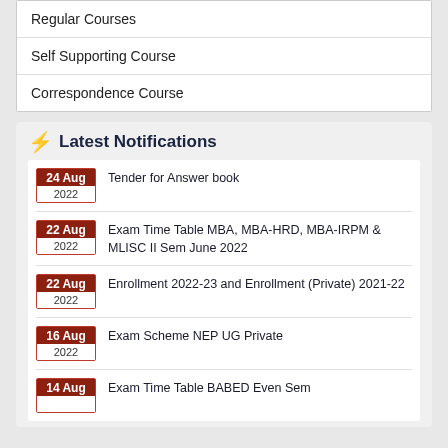Regular Courses
Self Supporting Course
Correspondence Course
Latest Notifications
24 Aug 2022 — Tender for Answer book
22 Aug 2022 — Exam Time Table MBA, MBA-HRD, MBA-IRPM & MLISC II Sem June 2022
22 Aug 2022 — Enrollment 2022-23 and Enrollment (Private) 2021-22
16 Aug 2022 — Exam Scheme NEP UG Private
14 Aug — Exam Time Table BABED Even Sem